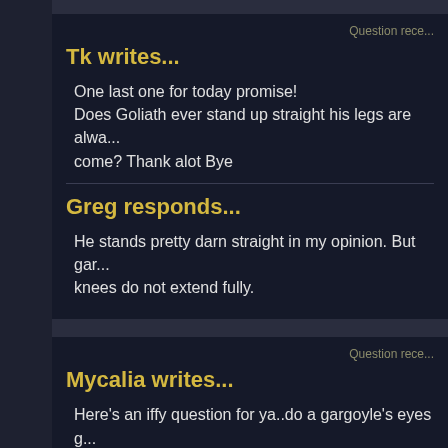Question rece...
Tk writes...
One last one for today promise! Does Goliath ever stand up straight his legs are alwa... come? Thank alot Bye
Greg responds...
He stands pretty darn straight in my opinion. But gar... knees do not extend fully.
Question rece...
Mycalia writes...
Here's an iffy question for ya..do a gargoyle's eyes g...
Greg responds...